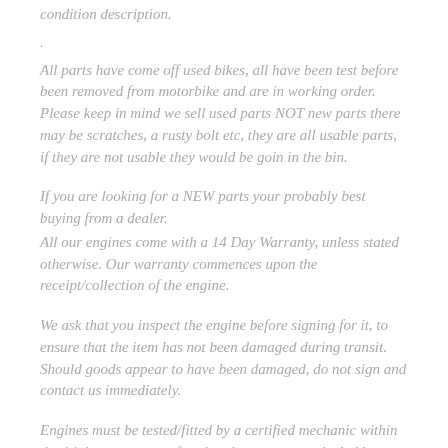condition description.
.
All parts have come off used bikes, all have been test before been removed from motorbike and are in working order. Please keep in mind we sell used parts NOT new parts there may be scratches, a rusty bolt etc, they are all usable parts, if they are not usable they would be goin in the bin.
If you are looking for a NEW parts your probably best buying from a dealer.
All our engines come with a 14 Day Warranty, unless stated otherwise. Our warranty commences upon the receipt/collection of the engine.
We ask that you inspect the engine before signing for it, to ensure that the item has not been damaged during transit. Should goods appear to have been damaged, do not sign and contact us immediately.
Engines must be tested/fitted by a certified mechanic within the 14 day warranty, after that date we cannot be held